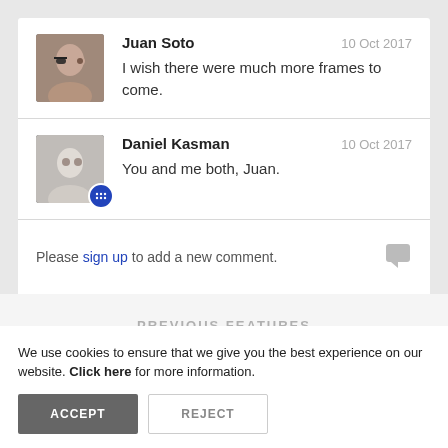Juan Soto — 10 Oct 2017 — I wish there were much more frames to come.
Daniel Kasman — 10 Oct 2017 — You and me both, Juan.
Please sign up to add a new comment.
PREVIOUS FEATURES
We use cookies to ensure that we give you the best experience on our website. Click here for more information.
ACCEPT   REJECT